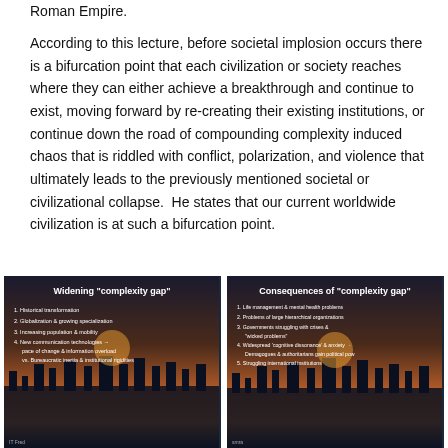Roman Empire.
According to this lecture, before societal implosion occurs there is a bifurcation point that each civilization or society reaches where they can either achieve a breakthrough and continue to exist, moving forward by re-creating their existing institutions, or continue down the road of compounding complexity induced chaos that is riddled with conflict, polarization, and violence that ultimately leads to the previously mentioned societal or civilizational collapse.  He states that our current worldwide civilization is at such a bifurcation point.
[Figure (photo): Slide image titled 'Widening complexity gap' showing a cityscape at sunset with a bulleted list: 1. Historical transformation, 2. Globalization & growing specialization, 3. Increasing population & mobility, 4. New communication technologies → pace of change & information overload vs. Bureaucratic inertia & institutional rigidities]
[Figure (photo): Slide image titled 'Consequences of complexity gap' showing a cityscape at sunset with a bulleted list: 1. Life management & mental health problems, 2. Problems of large hierarchical organizations, 3. Governments struggling with crises & 'wicked problems', 4. Widespread 'cognitive dissonance' & anxiety → Demagogues & authoritarians gain political power, 5. Struggling international institutions]